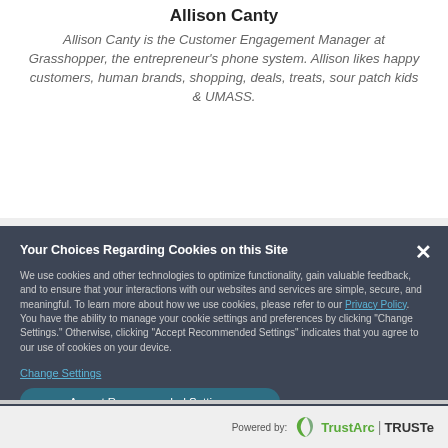Allison Canty
Allison Canty is the Customer Engagement Manager at Grasshopper, the entrepreneur's phone system. Allison likes happy customers, human brands, shopping, deals, treats, sour patch kids & UMASS.
Your Choices Regarding Cookies on this Site
We use cookies and other technologies to optimize functionality, gain valuable feedback, and to ensure that your interactions with our websites and services are simple, secure, and meaningful. To learn more about how we use cookies, please refer to our Privacy Policy. You have the ability to manage your cookie settings and preferences by clicking "Change Settings." Otherwise, clicking "Accept Recommended Settings" indicates that you agree to our use of cookies on your device.
Change Settings
Accept Recommended Settings
Using Educational Content to Win Over Your Next Customers
Nearly all users and users have questions?
Powered by: TrustArc | TRUSTe